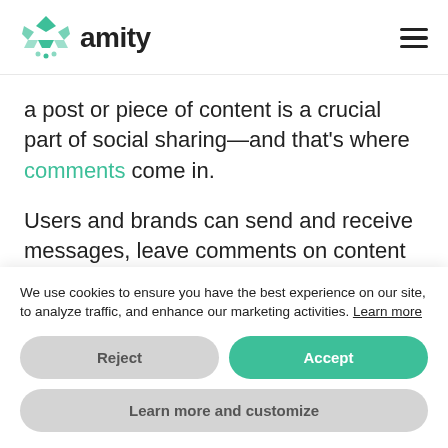amity
a post or piece of content is a crucial part of social sharing—and that's where comments come in.
Users and brands can send and receive messages, leave comments on content they
We use cookies to ensure you have the best experience on our site, to analyze traffic, and enhance our marketing activities. Learn more
Reject
Accept
Learn more and customize